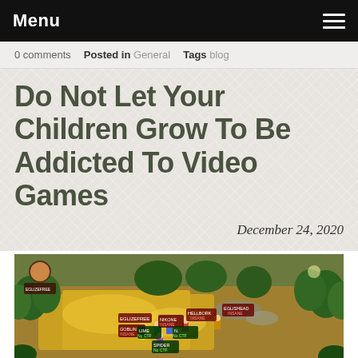Menu
0 comments   Posted in General   Tags blog
Do Not Let Your Children Grow To Be Addicted To Video Games
December 24, 2020
[Figure (screenshot): Screenshot of a video game showing an isometric battlefield scene with multiple player characters, lush green trees, gold-covered ground, and various player name tags with labels like 'INSANE' and 'No CTF'.]